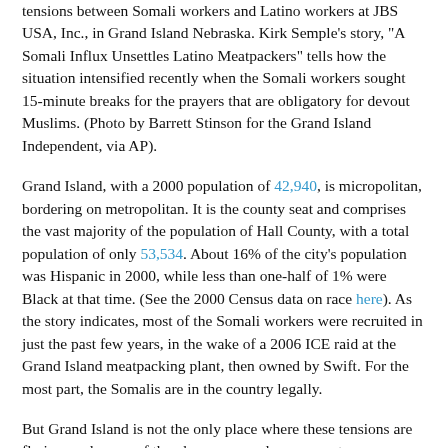tensions between Somali workers and Latino workers at JBS USA, Inc., in Grand Island Nebraska. Kirk Semple's story, "A Somali Influx Unsettles Latino Meatpackers" tells how the situation intensified recently when the Somali workers sought 15-minute breaks for the prayers that are obligatory for devout Muslims. (Photo by Barrett Stinson for the Grand Island Independent, via AP).
Grand Island, with a 2000 population of 42,940, is micropolitan, bordering on metropolitan. It is the county seat and comprises the vast majority of the population of Hall County, with a total population of only 53,534. About 16% of the city's population was Hispanic in 2000, while less than one-half of 1% were Black at that time. (See the 2000 Census data on race here). As the story indicates, most of the Somali workers were recruited in just the past few years, in the wake of a 2006 ICE raid at the Grand Island meatpacking plant, then owned by Swift. For the most part, the Somalis are in the country legally.
But Grand Island is not the only place where these tensions are flaring, and many of the places are rural or non-metro. Mentioned in the New York Times story are Greeley,